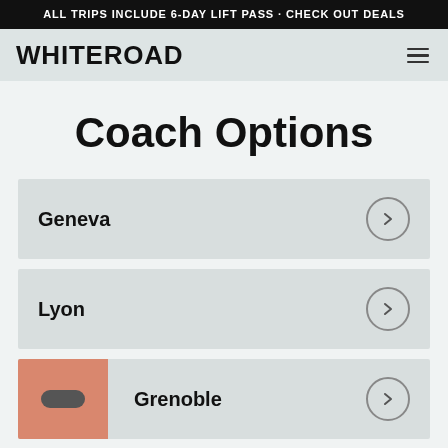ALL TRIPS INCLUDE 6-DAY LIFT PASS · CHECK OUT DEALS
WHITEROAD
Coach Options
Geneva
Lyon
Grenoble